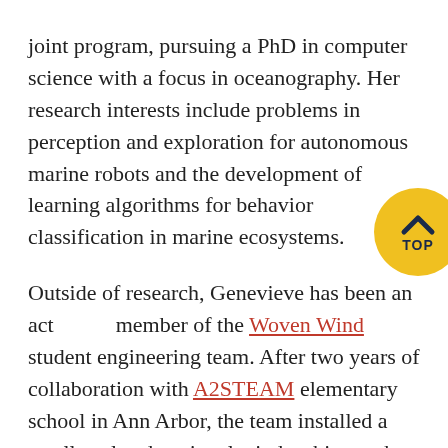joint program, pursuing a PhD in computer science with a focus in oceanography. Her research interests include problems in perception and exploration for autonomous marine robots and the development of learning algorithms for behavior classification in marine ecosystems.
Outside of research, Genevieve has been an active member of the Woven Wind student engineering team. After two years of collaboration with A2STEAM elementary school in Ann Arbor, the team installed a small-scale educational wind turbine at the school this spring. She has also been involved in the gEECS mentorship program at Michigan, was a peer mentor in the Michigan Research Community, and will spend this summer working for Dunkadoo, a non-profit organization in